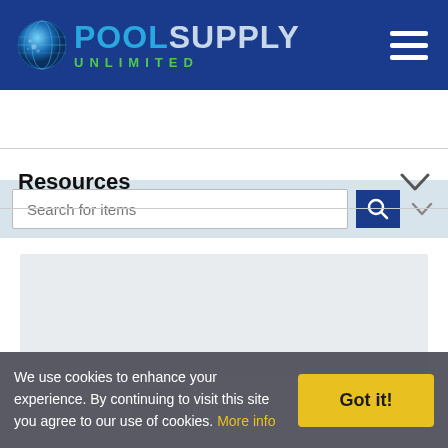[Figure (logo): Pool Supply Unlimited logo with globe icon, blue POOL, gray SUPPLY text, and green UNLIMITED text below]
[Figure (illustration): Hamburger menu icon (three horizontal white lines) in top right of header]
[Figure (screenshot): Search bar with placeholder 'Search for items', blue search button with magnifying glass icon, and gray dropdown chevron]
Resources
[Figure (illustration): Gray placeholder rectangle (ad or banner content area)]
[Figure (illustration): Faint product image preview near bottom of page]
We use cookies to enhance your experience. By continuing to visit this site you agree to our use of cookies. More info